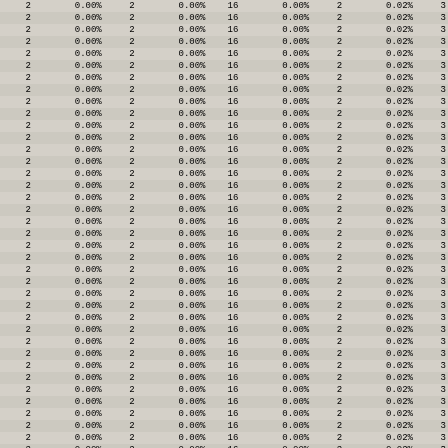| 2 | 0.00% | 2 | 0.00% | 16 | 0.00% | 2 | 0.02% | 3 |
| 2 | 0.00% | 2 | 0.00% | 16 | 0.00% | 2 | 0.02% | 3 |
| 2 | 0.00% | 2 | 0.00% | 16 | 0.00% | 2 | 0.02% | 3 |
| 2 | 0.00% | 2 | 0.00% | 16 | 0.00% | 2 | 0.02% | 3 |
| 2 | 0.00% | 2 | 0.00% | 16 | 0.00% | 2 | 0.02% | 3 |
| 2 | 0.00% | 2 | 0.00% | 16 | 0.00% | 2 | 0.02% | 3 |
| 2 | 0.00% | 2 | 0.00% | 16 | 0.00% | 2 | 0.02% | 3 |
| 2 | 0.00% | 2 | 0.00% | 16 | 0.00% | 2 | 0.02% | 3 |
| 2 | 0.00% | 2 | 0.00% | 16 | 0.00% | 2 | 0.02% | 3 |
| 2 | 0.00% | 2 | 0.00% | 16 | 0.00% | 2 | 0.02% | 3 |
| 2 | 0.00% | 2 | 0.00% | 16 | 0.00% | 2 | 0.02% | 3 |
| 2 | 0.00% | 2 | 0.00% | 16 | 0.00% | 2 | 0.02% | 3 |
| 2 | 0.00% | 2 | 0.00% | 16 | 0.00% | 2 | 0.02% | 3 |
| 2 | 0.00% | 2 | 0.00% | 16 | 0.00% | 2 | 0.02% | 3 |
| 2 | 0.00% | 2 | 0.00% | 16 | 0.00% | 2 | 0.02% | 3 |
| 2 | 0.00% | 2 | 0.00% | 16 | 0.00% | 2 | 0.02% | 3 |
| 2 | 0.00% | 2 | 0.00% | 16 | 0.00% | 2 | 0.02% | 3 |
| 2 | 0.00% | 2 | 0.00% | 16 | 0.00% | 2 | 0.02% | 3 |
| 2 | 0.00% | 2 | 0.00% | 16 | 0.00% | 2 | 0.02% | 3 |
| 2 | 0.00% | 2 | 0.00% | 16 | 0.00% | 2 | 0.02% | 3 |
| 2 | 0.00% | 2 | 0.00% | 16 | 0.00% | 2 | 0.02% | 3 |
| 2 | 0.00% | 2 | 0.00% | 16 | 0.00% | 2 | 0.02% | 3 |
| 2 | 0.00% | 2 | 0.00% | 16 | 0.00% | 2 | 0.02% | 3 |
| 2 | 0.00% | 2 | 0.00% | 16 | 0.00% | 2 | 0.02% | 3 |
| 2 | 0.00% | 2 | 0.00% | 16 | 0.00% | 2 | 0.02% | 3 |
| 2 | 0.00% | 2 | 0.00% | 16 | 0.00% | 2 | 0.02% | 3 |
| 2 | 0.00% | 2 | 0.00% | 16 | 0.00% | 2 | 0.02% | 3 |
| 2 | 0.00% | 2 | 0.00% | 16 | 0.00% | 2 | 0.02% | 3 |
| 2 | 0.00% | 2 | 0.00% | 16 | 0.00% | 2 | 0.02% | 3 |
| 2 | 0.00% | 2 | 0.00% | 16 | 0.00% | 2 | 0.02% | 3 |
| 2 | 0.00% | 2 | 0.00% | 16 | 0.00% | 2 | 0.02% | 3 |
| 2 | 0.00% | 2 | 0.00% | 16 | 0.00% | 2 | 0.02% | 3 |
| 2 | 0.00% | 2 | 0.00% | 16 | 0.00% | 2 | 0.02% | 3 |
| 2 | 0.00% | 2 | 0.00% | 16 | 0.00% | 2 | 0.02% | 3 |
| 2 | 0.00% | 2 | 0.00% | 16 | 0.00% | 2 | 0.02% | 3 |
| 2 | 0.00% | 2 | 0.00% | 16 | 0.00% | 2 | 0.02% | 3 |
| 2 | 0.00% | 2 | 0.00% | 16 | 0.00% | 2 | 0.02% | 3 |
| 2 | 0.00% | 2 | 0.00% | 16 | 0.00% | 2 | 0.02% | 3 |
| 2 | 0.00% | 2 | 0.00% | 16 | 0.00% | 2 | 0.02% | 3 |
| 2 | 0.00% | 2 | 0.00% | 16 | 0.00% | 2 | 0.02% | 3 |
| 2 | 0.00% | 2 | 0.00% | 16 | 0.00% | 2 | 0.02% | 3 |
| 2 | 0.00% | 2 | 0.00% | 16 | 0.00% | 2 | 0.02% | 3 |
| 2 | 0.00% | 2 | 0.00% | 16 | 0.00% | 2 | 0.02% | 3 |